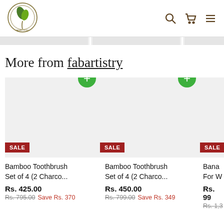[Figure (logo): Fabartistry circular logo with leaf and tools design]
[Figure (infographic): Navigation icons: search, cart, hamburger menu]
[Figure (photo): Gray image strip showing product thumbnails partially visible]
More from fabartistry
[Figure (photo): First product: Bamboo Toothbrush Set of 4 (2 Charco... - gray product image with SALE badge and green + button]
Bamboo Toothbrush Set of 4 (2 Charco...
Rs. 425.00
Rs. 795.00 Save Rs. 370
[Figure (photo): Second product: Bamboo Toothbrush Set of 4 (2 Charco... - gray product image with SALE badge and green + button]
Bamboo Toothbrush Set of 4 (2 Charco...
Rs. 450.00
Rs. 799.00 Save Rs. 349
[Figure (photo): Third product partially visible: Bana... For W... with SALE badge]
Bana... For W...
Rs. 99...
Rs. 1,3...